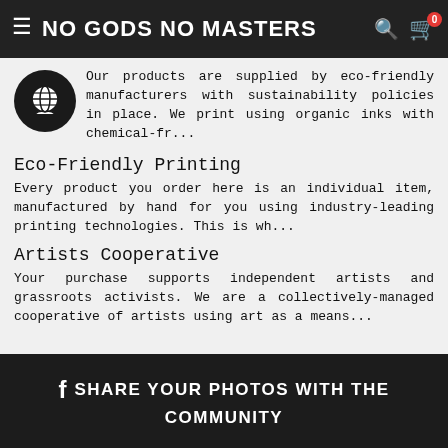NO GODS NO MASTERS
Our products are supplied by eco-friendly manufacturers with sustainability policies in place. We print using organic inks with chemical-fr...
Eco-Friendly Printing
Every product you order here is an individual item, manufactured by hand for you using industry-leading printing technologies. This is wh...
Artists Cooperative
Your purchase supports independent artists and grassroots activists. We are a collectively-managed cooperative of artists using art as a means...
SHARE YOUR PHOTOS WITH THE COMMUNITY